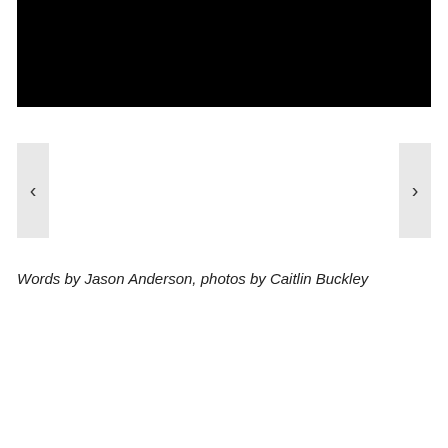[Figure (photo): Black rectangular banner image at the top of the page]
[Figure (other): Navigation carousel with left arrow chevron and right arrow chevron on gray rectangular backgrounds]
Words by Jason Anderson, photos by Caitlin Buckley